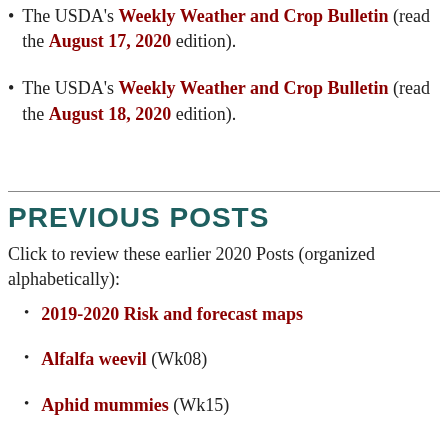The USDA's Weekly Weather and Crop Bulletin (read the August 17, 2020 edition).
The USDA's Weekly Weather and Crop Bulletin (read the August 18, 2020 edition).
PREVIOUS POSTS
Click to review these earlier 2020 Posts (organized alphabetically):
2019-2020 Risk and forecast maps
Alfalfa weevil (Wk08)
Aphid mummies (Wk15)